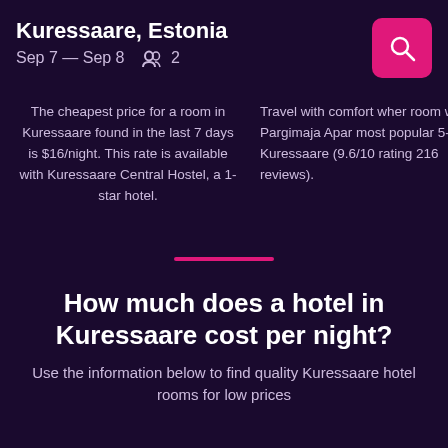Kuressaare, Estonia
Sep 7 — Sep 8   2
The cheapest price for a room in Kuressaare found in the last 7 days is $16/night. This rate is available with Kuressaare Central Hostel, a 1-star hotel.
Travel with comfort when room with Pargimaja Apar most popular 5-star h Kuressaare (9.6/10 rating 216 reviews).
How much does a hotel in Kuressaare cost per night?
Use the information below to find quality Kuressaare hotel rooms for low prices